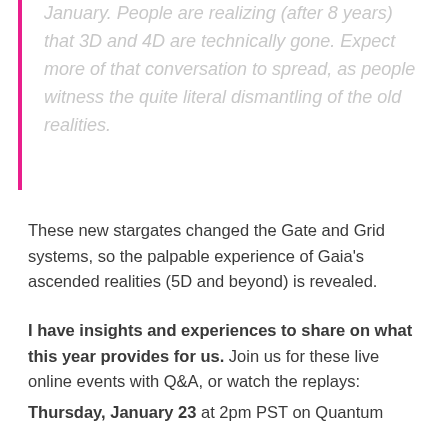January. People are realizing (after 8 years) that 3D and 4D are technically gone. Expect more of that conversation to spread, as people witness the quite literal dismantling of the old realities.
These new stargates changed the Gate and Grid systems, so the palpable experience of Gaia's ascended realities (5D and beyond) is revealed.
I have insights and experiences to share on what this year provides for us. Join us for these live online events with Q&A, or watch the replays:
Thursday, January 23 at 2pm PST on Quantum